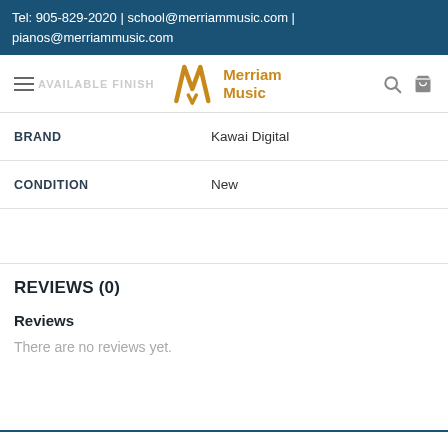Tel: 905-829-2020 | school@merriammusic.com | pianos@merriammusic.com
[Figure (logo): Merriam Music logo with stylized M in gold and navigation bar with hamburger menu, search and cart icons, and faint 'AVAILABLE FINISH' text behind logo]
| BRAND | Kawai Digital |
| CONDITION | New |
|  |  |
REVIEWS (0)
Reviews
There are no reviews yet.